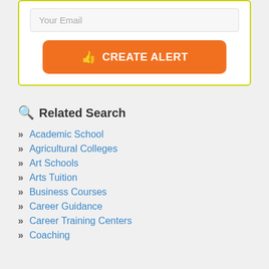Your Email
CREATE ALERT
Related Search
Academic School
Agricultural Colleges
Art Schools
Arts Tuition
Business Courses
Career Guidance
Career Training Centers
Coaching